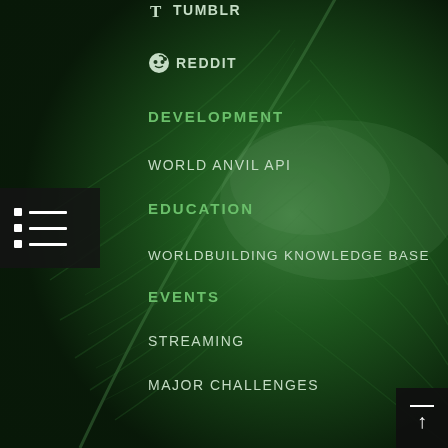TUMBLR
REDDIT
DEVELOPMENT
WORLD ANVIL API
EDUCATION
WORLDBUILDING KNOWLEDGE BASE
EVENTS
STREAMING
MAJOR CHALLENGES
WORLDEMBER
SUMMERCAMP
OUR SHOP
GIFTS & WORLD ANVIL GEAR
REACHING OUT
JOIN THE AFFILIATE PROGRAM
ADVERTISE ON WORLD ANVIL
GET SPONSORED